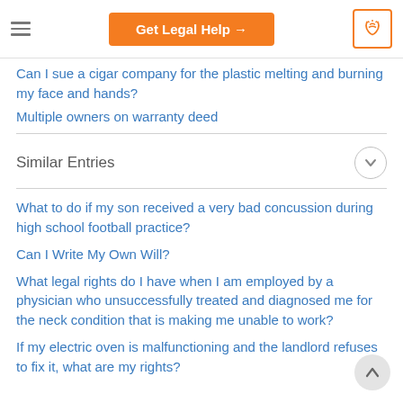Get Legal Help →
Can I sue a cigar company for the plastic melting and burning my face and hands?
Multiple owners on warranty deed
Similar Entries
What to do if my son received a very bad concussion during high school football practice?
Can I Write My Own Will?
What legal rights do I have when I am employed by a physician who unsuccessfully treated and diagnosed me for the neck condition that is making me unable to work?
If my electric oven is malfunctioning and the landlord refuses to fix it, what are my rights?